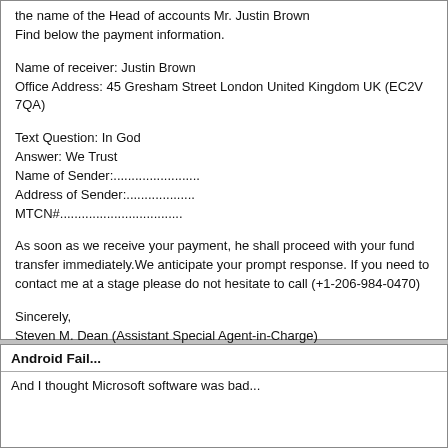the name of the Head of accounts Mr. Justin Brown
Find below the payment information.
Name of receiver: Justin Brown
Office Address: 45 Gresham Street London United Kingdom UK (EC2V 7QA)
Text Question: In God
Answer: We Trust
Name of Sender:........................
Address of Sender:...................
MTCN#..................................
As soon as we receive your payment, he shall proceed with your fund transfer immediately.We anticipate your prompt response. If you need to contact me at a stage please do not hesitate to call (+1-206-984-0470)
Sincerely,
Steven M. Dean (Assistant Special Agent-in-Charge)
cc Robert Mueller (FBI Director)
+ Comment
Android Fail...
And I thought Microsoft software was bad...
[Figure (screenshot): Screenshot of Android SDK and AVD Manager window showing Virtual Devices tab]